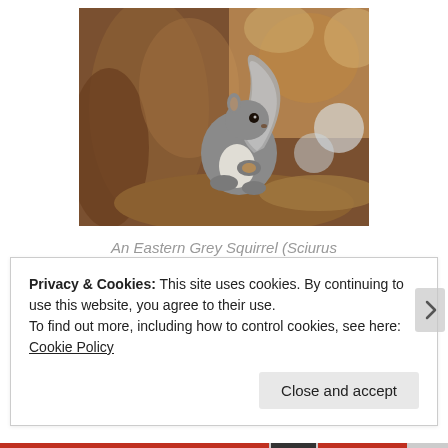[Figure (photo): A grey squirrel (Eastern Grey Squirrel, Sciurus carolinensis) clinging to a tree trunk, holding a nut. Autumn-colored blurred background.]
An Eastern Grey Squirrel (Sciurus carolinensis) in St James's Park,
Privacy & Cookies: This site uses cookies. By continuing to use this website, you agree to their use.
To find out more, including how to control cookies, see here: Cookie Policy